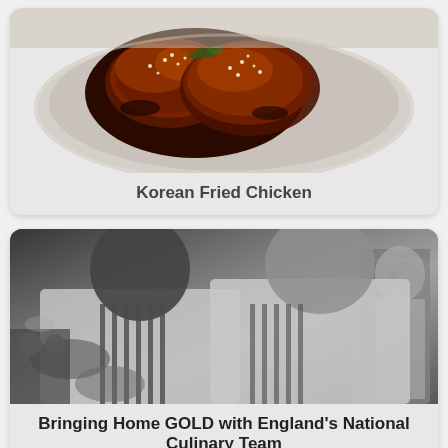[Figure (photo): Color photo of Korean Fried Chicken — glazed dark chicken pieces with sesame seeds on a ceramic plate]
Korean Fried Chicken
[Figure (photo): Black and white photo of chefs in striped aprons working in a professional kitchen]
Bringing Home GOLD with England's National Culinary Team